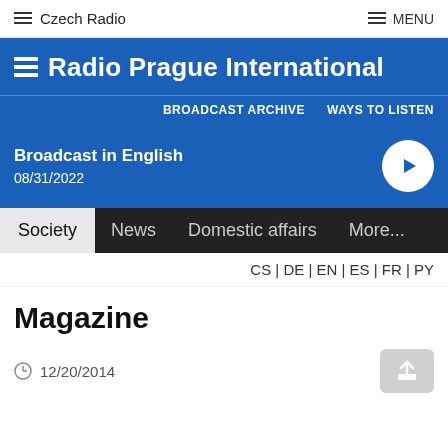Czech Radio   MENU
Radio Prague International
BROADCAST ARCHIVE   WAYS TO LISTEN
Broadcast in English
08/31/2022
Society   News   Domestic affairs   More...
CS | DE | EN | ES | FR | PY
Magazine
12/20/2014